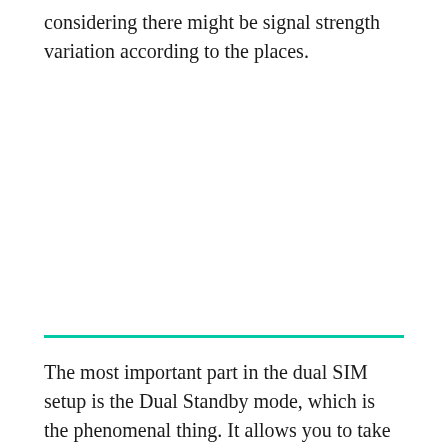considering there might be signal strength variation according to the places.
The most important part in the dual SIM setup is the Dual Standby mode, which is the phenomenal thing. It allows you to take calls from second SIM even if you're